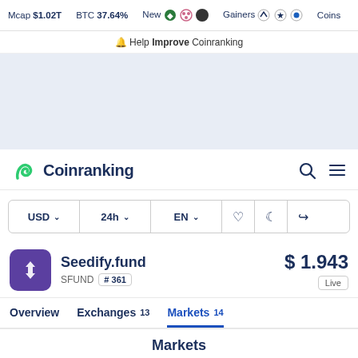Mcap $1.02T   BTC 37.64%   New   Gainers   Coins
Help Improve Coinranking
[Figure (screenshot): Advertisement banner placeholder area with light blue background]
[Figure (logo): Coinranking logo with green leaf/diamond icon and wordmark, plus search and hamburger menu icons]
USD ∨   24h ∨   EN ∨   ♡   ☾   ↪
Seedify.fund   SFUND   # 361   $ 1.943   Live
Overview   Exchanges 13   Markets 14
Markets